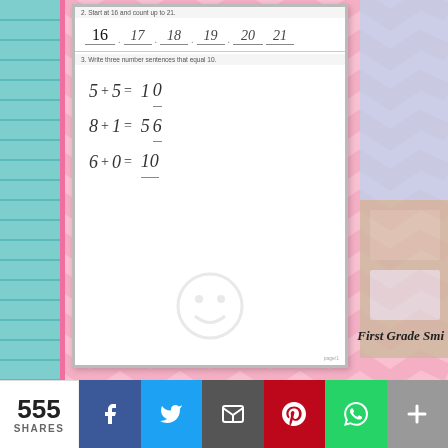[Figure (photo): A child's first grade math worksheet showing: Q2 'Start at 16 and count up to 21' with handwritten numbers 16, 17, 18, 19, 20, 21 on blanks; Q3 'Write three number sentences that equal 10' with handwritten equations like 5+5=10, 8+1=10 etc. Photo is placed on a pink chevron background with 'First Grade Smi...' watermark.]
The last thing I keep in my bind...
[Figure (photo): A pink chevron banner with bold black text reading 'Behavior' (partially visible), with small photos of behavior chart materials visible below.]
555 SHARES | Facebook | Twitter | Email | Pinterest | WhatsApp | More